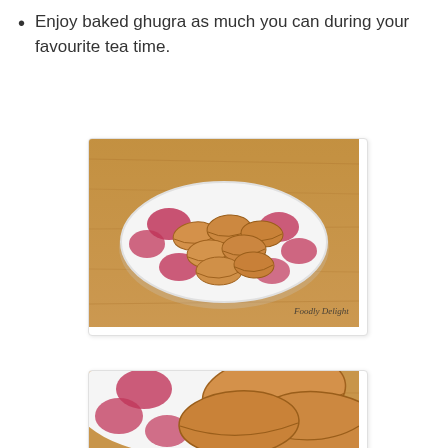Enjoy baked ghugra as much you can during your favourite tea time.
[Figure (photo): Baked ghugra (crescent-shaped pastries) arranged on a white plate with pink/red floral pattern, placed on a wooden table. Watermark reads 'Foodly Delight'.]
[Figure (photo): Close-up of baked ghugra on a white plate with pink/red floral pattern, showing the crimped edges and golden-brown surface of the pastries.]